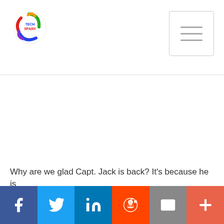[Figure (logo): TechSparx logo - colorful circular icon with text TECH SPARX]
[Figure (other): Hamburger menu button with three horizontal lines]
Why are we glad Capt. Jack is back? It's because he is
[Figure (infographic): Social sharing bar with Facebook, Twitter, LinkedIn, Reddit, Email, and More buttons]